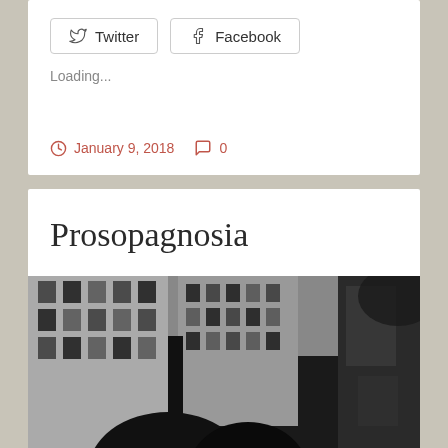[Figure (screenshot): Social share buttons: Twitter and Facebook, with Loading... text below]
Loading...
January 9, 2018  0
Prosopagnosia
[Figure (photo): Black and white urban street photography showing silhouettes of people against a backdrop of modern buildings with grid-like window patterns]